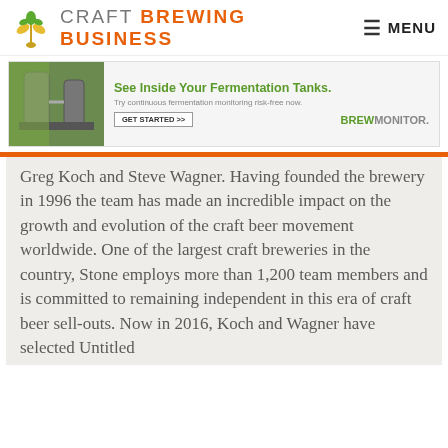CRAFT BREWING BUSINESS  MENU
[Figure (screenshot): Advertisement banner for BrewMonitor fermentation monitoring: 'See Inside Your Fermentation Tanks. Try continuous fermentation monitoring risk-free now. GET STARTED >> BREWMONITOR.']
Greg Koch and Steve Wagner. Having founded the brewery in 1996 the team has made an incredible impact on the growth and evolution of the craft beer movement worldwide. One of the largest craft breweries in the country, Stone employs more than 1,200 team members and is committed to remaining independent in this era of craft beer sell-outs. Now in 2016, Koch and Wagner have selected Untitled